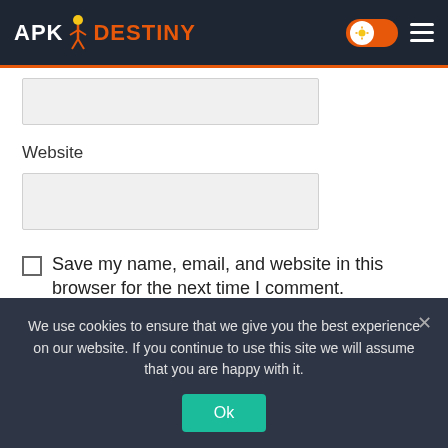APK DESTINY
Website
Save my name, email, and website in this browser for the next time I comment.
Post Comment
We use cookies to ensure that we give you the best experience on our website. If you continue to use this site we will assume that you are happy with it.
Ok